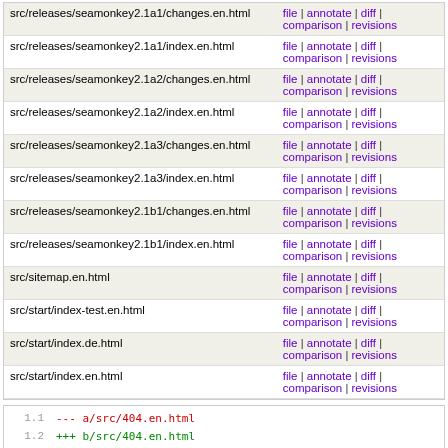| File | Links |
| --- | --- |
| src/releases/seamonkey2.1a1/changes.en.html | file | annotate | diff | comparison | revisions |
| src/releases/seamonkey2.1a1/index.en.html | file | annotate | diff | comparison | revisions |
| src/releases/seamonkey2.1a2/changes.en.html | file | annotate | diff | comparison | revisions |
| src/releases/seamonkey2.1a2/index.en.html | file | annotate | diff | comparison | revisions |
| src/releases/seamonkey2.1a3/changes.en.html | file | annotate | diff | comparison | revisions |
| src/releases/seamonkey2.1a3/index.en.html | file | annotate | diff | comparison | revisions |
| src/releases/seamonkey2.1b1/changes.en.html | file | annotate | diff | comparison | revisions |
| src/releases/seamonkey2.1b1/index.en.html | file | annotate | diff | comparison | revisions |
| src/sitemap.en.html | file | annotate | diff | comparison | revisions |
| src/start/index-test.en.html | file | annotate | diff | comparison | revisions |
| src/start/index.de.html | file | annotate | diff | comparison | revisions |
| src/start/index.en.html | file | annotate | diff | comparison | revisions |
1.1  --- a/src/404.en.html
1.2  +++ b/src/404.en.html
1.3  @@ -2,17 +2,16 @@
1.4    <html lang="en">
1.5    <head>
1.6
1.7    <meta http-equiv="Content-Type" content="text/html
1.8    <meta http-equiv="Content-Language" content="en">